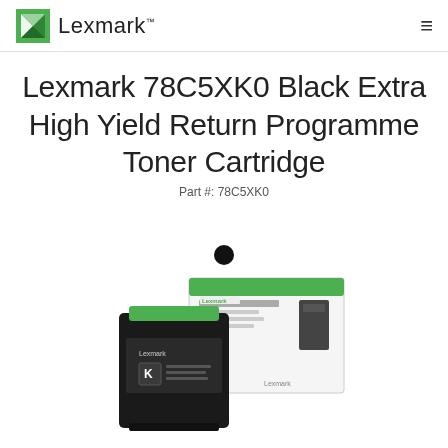Lexmark
Lexmark 78C5XK0 Black Extra High Yield Return Programme Toner Cartridge
Part #: 78C5XK0
[Figure (photo): Black toner cartridge (Lexmark 78C5XK0) shown in front of its white and green product box]